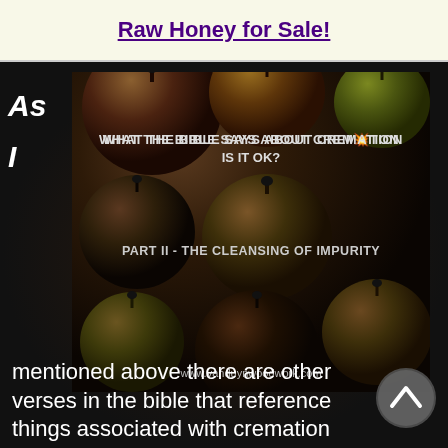Raw Honey for Sale!
[Figure (illustration): Dark background with two white letters 'As' and 'I' on the left sidebar, and a central image showing wooden spheres/pomegranates with overlay text: 'What the Bible says about Cremation Is it ok?' and 'Part II - The cleansing of Impurity' and 'www.vanduynwoodwork.com']
mentioned above there are other verses in the bible that reference things associated with cremation